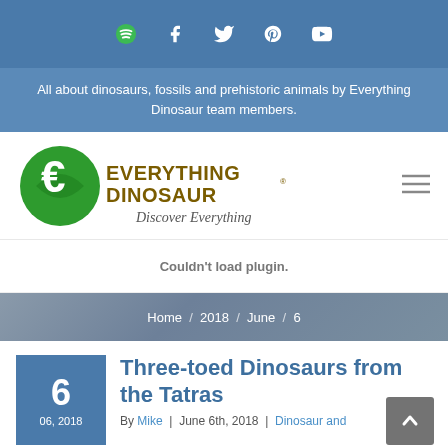Navigation bar with social icons: Spotify, Facebook, Twitter, Pinterest, YouTube
All about dinosaurs, fossils and prehistoric animals by Everything Dinosaur team members.
[Figure (logo): Everything Dinosaur logo with green E icon and text 'EVERYTHING DINOSAUR® Discover Everything']
Couldn't load plugin.
Home / 2018 / June / 6
Three-toed Dinosaurs from the Tatras
By Mike | June 6th, 2018 | Dinosaur and